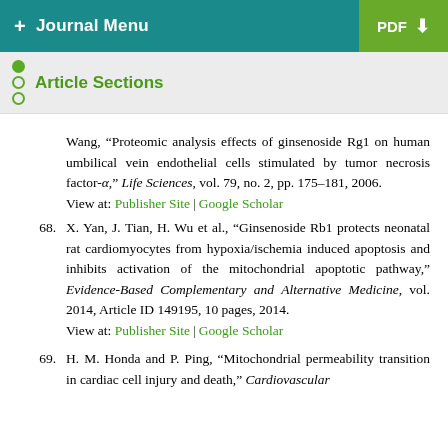+ Journal Menu | PDF
Article Sections
Wang, “Proteomic analysis effects of ginsenoside Rg1 on human umbilical vein endothelial cells stimulated by tumor necrosis factor-α,” Life Sciences, vol. 79, no. 2, pp. 175–181, 2006.
View at: Publisher Site | Google Scholar
68. X. Yan, J. Tian, H. Wu et al., “Ginsenoside Rb1 protects neonatal rat cardiomyocytes from hypoxia/ischemia induced apoptosis and inhibits activation of the mitochondrial apoptotic pathway,” Evidence-Based Complementary and Alternative Medicine, vol. 2014, Article ID 149195, 10 pages, 2014.
View at: Publisher Site | Google Scholar
69. H. M. Honda and P. Ping, “Mitochondrial permeability transition in cardiac cell injury and death,” Cardiovascular